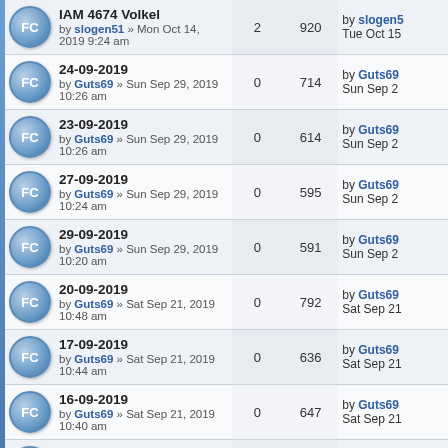| Topic | Replies | Views | Last post |
| --- | --- | --- | --- |
| IAM 4674 Volkel
by slogen51 » Mon Oct 14, 2019 9:24 am | 2 | 920 | by slogen51
Tue Oct 15 |
| 24-09-2019
by Guts69 » Sun Sep 29, 2019 10:26 am | 0 | 714 | by Guts69
Sun Sep 2 |
| 23-09-2019
by Guts69 » Sun Sep 29, 2019 10:26 am | 0 | 614 | by Guts69
Sun Sep 2 |
| 27-09-2019
by Guts69 » Sun Sep 29, 2019 10:24 am | 0 | 595 | by Guts69
Sun Sep 2 |
| 29-09-2019
by Guts69 » Sun Sep 29, 2019 10:20 am | 0 | 591 | by Guts69
Sun Sep 2 |
| 20-09-2019
by Guts69 » Sat Sep 21, 2019 10:48 am | 0 | 792 | by Guts69
Sat Sep 21 |
| 17-09-2019
by Guts69 » Sat Sep 21, 2019 10:44 am | 0 | 636 | by Guts69
Sat Sep 21 |
| 16-09-2019
by Guts69 » Sat Sep 21, 2019 10:40 am | 0 | 647 | by Guts69
Sat Sep 21 |
| 18-09-2019
by Guts69 » Sat Sep 21, 2019 10:38 am | 0 | 653 | by Guts69
Sat Sep 21 |